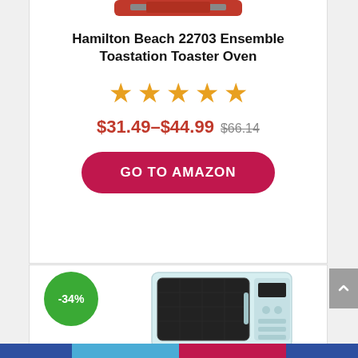[Figure (photo): Partial top view of a red Hamilton Beach toaster oven]
Hamilton Beach 22703 Ensemble Toastation Toaster Oven
[Figure (other): 5 orange star rating icons]
$31.49–$44.99 $66.14
GO TO AMAZON
[Figure (photo): Light blue/mint colored microwave oven product image with -34% discount badge]